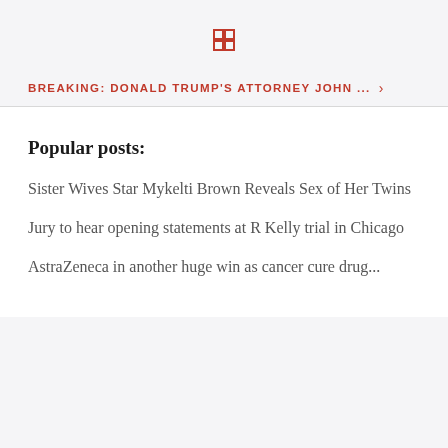[grid icon]
BREAKING: DONALD TRUMP'S ATTORNEY JOHN ... >
Popular posts:
Sister Wives Star Mykelti Brown Reveals Sex of Her Twins
Jury to hear opening statements at R Kelly trial in Chicago
AstraZeneca in another huge win as cancer cure drug...